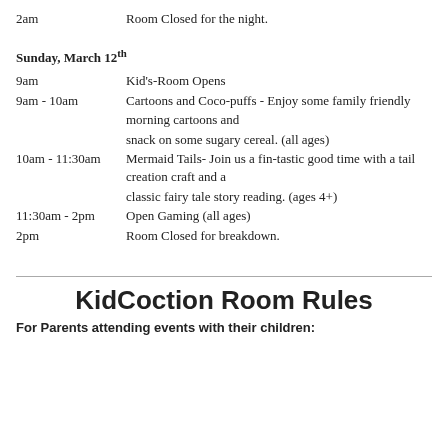2am   Room Closed for the night.
Sunday, March 12th
9am   Kid's-Room Opens
9am - 10am   Cartoons and Coco-puffs - Enjoy some family friendly morning cartoons and snack on some sugary cereal. (all ages)
10am - 11:30am   Mermaid Tails- Join us a fin-tastic good time with a tail creation craft and a classic fairy tale story reading. (ages 4+)
11:30am - 2pm   Open Gaming (all ages)
2pm   Room Closed for breakdown.
KidCoction Room Rules
For Parents attending events with their children: